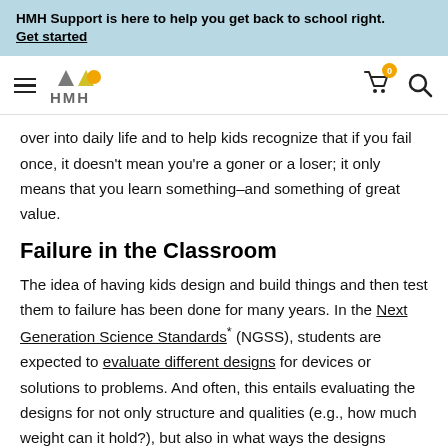HMH Support is here to help you get back to school right. Get started
[Figure (logo): HMH logo with hamburger menu, cart icon with 0 badge, and search icon]
over into daily life and to help kids recognize that if you fail once, it doesn't mean you're a goner or a loser; it only means that you learn something–and something of great value.
Failure in the Classroom
The idea of having kids design and build things and then test them to failure has been done for many years. In the Next Generation Science Standards* (NGSS), students are expected to evaluate different designs for devices or solutions to problems. And often, this entails evaluating the designs for not only structure and qualities (e.g., how much weight can it hold?), but also in what ways the designs failed.
There's a failure site–that's where it broke. There's a failure